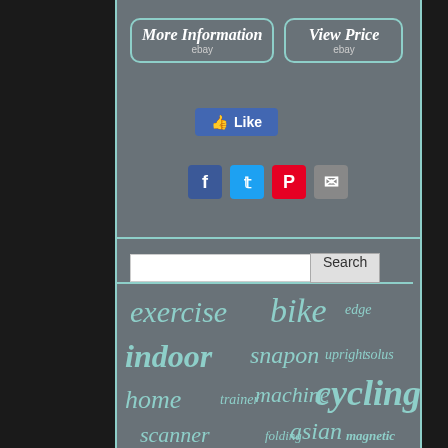[Figure (screenshot): Two eBay buttons: 'More Information ebay' and 'View Price ebay' with teal rounded rectangle borders on gray background]
[Figure (infographic): Facebook Like button (blue)]
[Figure (infographic): Social sharing icons: Facebook, Twitter, Pinterest, Email]
[Figure (infographic): Search bar with text input and Search button]
[Figure (infographic): Tag cloud with exercise bike related keywords: exercise, bike, edge, indoor, snapon, upright, solus, home, trainer, machine, cycling, scanner, folding, asian, magnetic, fitness, euro, controller]